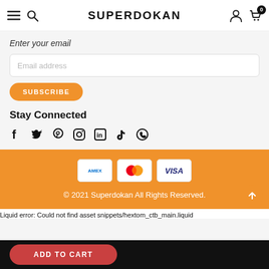SUPERDOKAN
Enter your email
Email address
SUBSCRIBE
Stay Connected
[Figure (illustration): Social media icons: Facebook, Twitter, Pinterest, Instagram, LinkedIn, TikTok, WhatsApp]
[Figure (illustration): Payment card icons: American Express (AMEX), Mastercard, Visa]
© 2021 Superdokan All Rights Reserved.
Liquid error: Could not find asset snippets/hextom_ctb_main.liquid
ADD TO CART